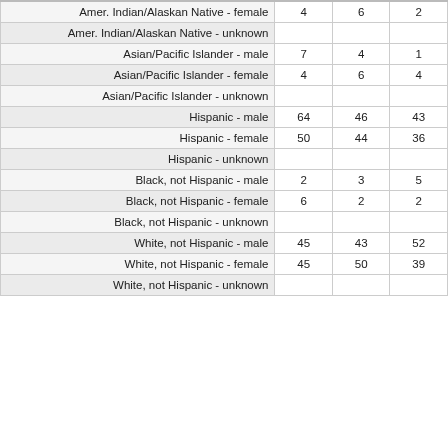|  |  |  |  |
| --- | --- | --- | --- |
| Amer. Indian/Alaskan Native - female | 4 | 6 | 2 |
| Amer. Indian/Alaskan Native - unknown |  |  |  |
| Asian/Pacific Islander - male | 7 | 4 | 1 |
| Asian/Pacific Islander - female | 4 | 6 | 4 |
| Asian/Pacific Islander - unknown |  |  |  |
| Hispanic - male | 64 | 46 | 43 |
| Hispanic - female | 50 | 44 | 36 |
| Hispanic - unknown |  |  |  |
| Black, not Hispanic - male | 2 | 3 | 5 |
| Black, not Hispanic - female | 6 | 2 | 2 |
| Black, not Hispanic - unknown |  |  |  |
| White, not Hispanic - male | 45 | 43 | 52 |
| White, not Hispanic - female | 45 | 50 | 39 |
| White, not Hispanic - unknown |  |  |  |